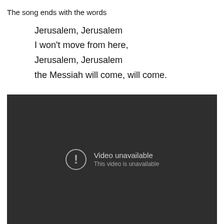The song ends with the words

Jerusalem, Jerusalem
I won't move from here,
Jerusalem, Jerusalem
the Messiah will come, will come.
[Figure (screenshot): Embedded video player showing 'Video unavailable — This video is unavailable' error message on a dark background.]